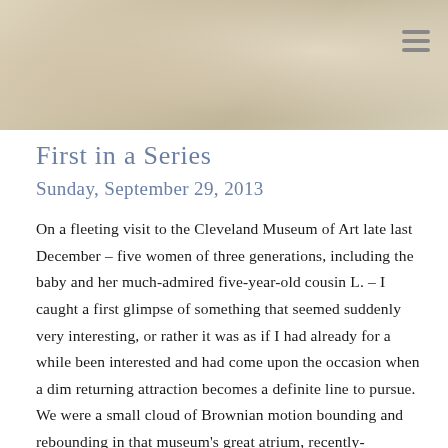[Figure (photo): A photograph showing soft warm tones with beige and tan colors, partially visible at the top of the page. A hamburger menu icon (three horizontal lines) is visible in the top right corner.]
First in a Series
Sunday, September 29, 2013
On a fleeting visit to the Cleveland Museum of Art late last December – five women of three generations, including the baby and her much-admired five-year-old cousin L. – I caught a first glimpse of something that seemed suddenly very interesting, or rather it was as if I had already for a while been interested and had come upon the occasion when a dim returning attraction becomes a definite line to pursue. We were a small cloud of Brownian motion bounding and rebounding in that museum's great atrium, recently-completed, and its great white rooms – it was almost by accident [...]